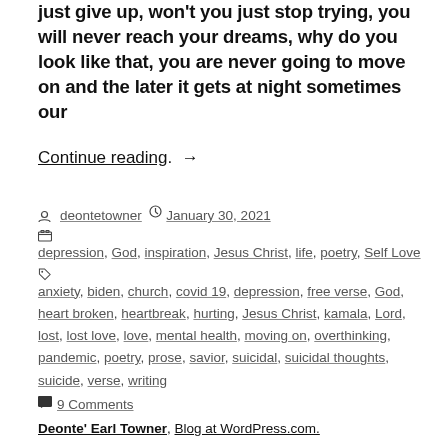just give up, won't you just stop trying, you will never reach your dreams, why do you look like that, you are never going to move on and the later it gets at night sometimes our
Continue reading →
deontetowner · January 30, 2021 · depression, God, inspiration, Jesus Christ, life, poetry, Self Love · anxiety, biden, church, covid 19, depression, free verse, God, heart broken, heartbreak, hurting, Jesus Christ, kamala, Lord, lost, lost love, love, mental health, moving on, overthinking, pandemic, poetry, prose, savior, suicidal, suicidal thoughts, suicide, verse, writing · 9 Comments
Deonte' Earl Towner, Blog at WordPress.com.